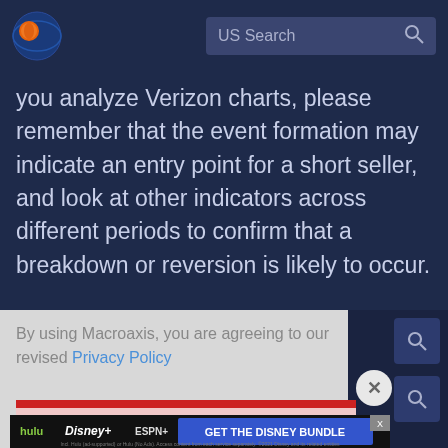[Figure (logo): Macroaxis logo — circular globe icon with orange and blue colors]
[Figure (screenshot): US Search bar with magnifying glass icon on dark blue background]
you analyze Verizon charts, please remember that the event formation may indicate an entry point for a short seller, and look at other indicators across different periods to confirm that a breakdown or reversion is likely to occur.
By using Macroaxis, you are agreeing to our revised Privacy Policy
[Figure (screenshot): OK button with red bar and ad banner for Disney Bundle showing Hulu, Disney+, ESPN+ logos]